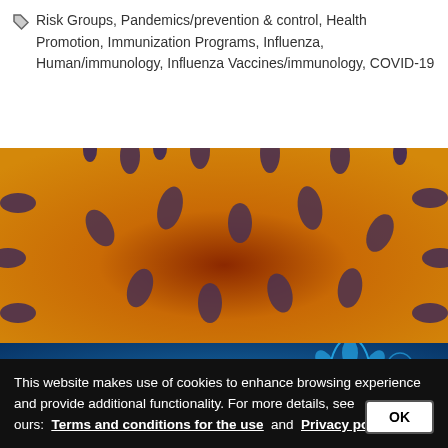Risk Groups, Pandemics/prevention & control, Health Promotion, Immunization Programs, Influenza, Human/immunology, Influenza Vaccines/immunology, COVID-19
[Figure (photo): Close-up 3D rendering of a coronavirus (orange/red) with dark grey spike proteins protruding from the surface, and a blue-toned image of another virus partially visible below.]
This website makes use of cookies to enhance browsing experience and provide additional functionality. For more details, see ours: Terms and conditions for the use and Privacy policy